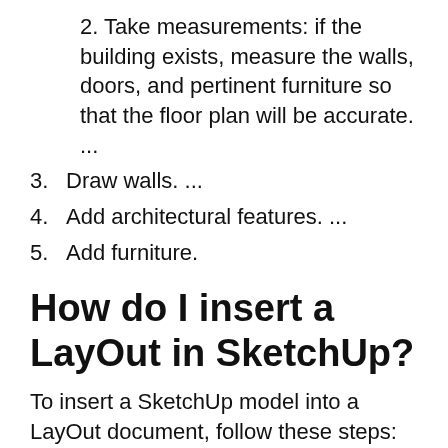2. Take measurements: if the building exists, measure the walls, doors, and pertinent furniture so that the floor plan will be accurate. ...
3. Draw walls. ...
4. Add architectural features. ...
5. Add furniture.
How do I insert a LayOut in SketchUp?
To insert a SketchUp model into a LayOut document, follow these steps:
1. Navigate to the page where you want to insert a SketchUp model.
2. Select File > Insert from the menu bar.
3. In the Open dialog box that appears,